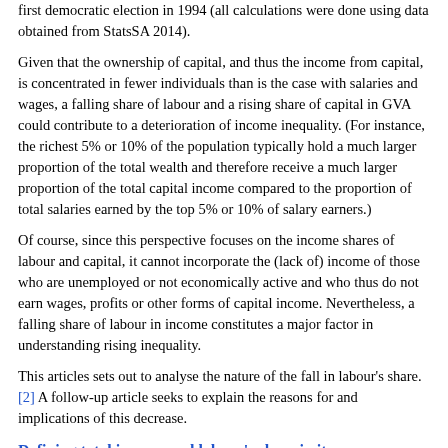first democratic election in 1994 (all calculations were done using data obtained from StatsSA 2014).
Given that the ownership of capital, and thus the income from capital, is concentrated in fewer individuals than is the case with salaries and wages, a falling share of labour and a rising share of capital in GVA could contribute to a deterioration of income inequality. (For instance, the richest 5% or 10% of the population typically hold a much larger proportion of the total wealth and therefore receive a much larger proportion of the total capital income compared to the proportion of total salaries earned by the top 5% or 10% of salary earners.)
Of course, since this perspective focuses on the income shares of labour and capital, it cannot incorporate the (lack of) income of those who are unemployed or not economically active and who thus do not earn wages, profits or other forms of capital income. Nevertheless, a falling share of labour in income constitutes a major factor in understanding rising inequality.
This articles sets out to analyse the nature of the fall in labour's share.[2] A follow-up article seeks to explain the reasons for and implications of this decrease.
Defining total income and labour's share in it
On a macroeconomic level the total income of the economy can be